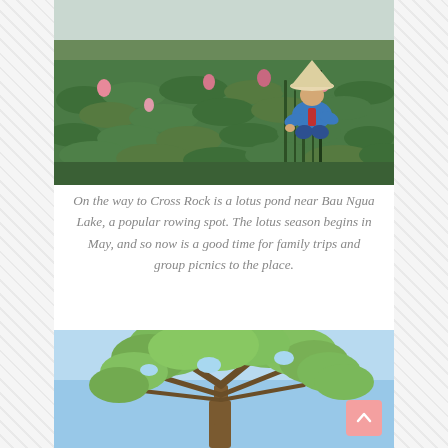[Figure (photo): Person in Vietnamese conical hat kneeling in a large lotus pond field with pink lotus flowers and green lily pads, trees visible in background under hazy sky.]
On the way to Cross Rock is a lotus pond near Bau Ngua Lake, a popular rowing spot. The lotus season begins in May, and so now is a good time for family trips and group picnics to the place.
[Figure (photo): Large leafy green tree with spreading canopy photographed from below against a bright blue sky.]